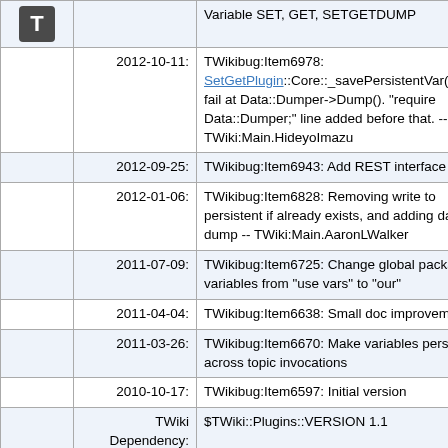|  | Date | Description |
| --- | --- | --- |
| T |  | Variable SET, GET, SETGETDUMP |
|  | 2012-10-11: | TWikibug:Item6978: SetGetPlugin::Core::_savePersistentVar() may fail at Data::Dumper->Dump(). "require Data::Dumper;" line added before that. -- TWiki:Main.HideyoImazu |
|  | 2012-09-25: | TWikibug:Item6943: Add REST interface |
|  | 2012-01-06: | TWikibug:Item6828: Removing write to persistent if already exists, and adding data dump -- TWiki:Main.AaronLWalker |
|  | 2011-07-09: | TWikibug:Item6725: Change global package variables from "use vars" to "our" |
|  | 2011-04-04: | TWikibug:Item6638: Small doc improvements |
|  | 2011-03-26: | TWikibug:Item6670: Make variables persistent across topic invocations |
|  | 2010-10-17: | TWikibug:Item6597: Initial version |
|  | TWiki Dependency: | $TWiki::Plugins::VERSION 1.1 |